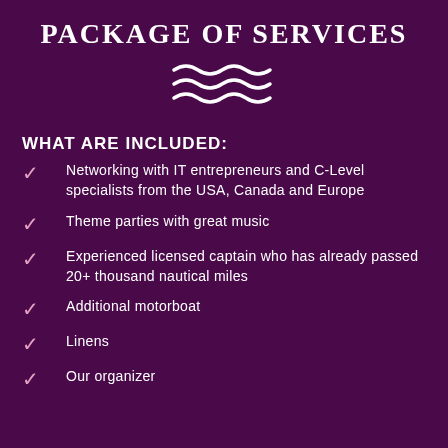Package of services
[Figure (illustration): Three wavy lines decorative icon in white, centered]
WHAT ARE INCLUDED:
Networking with IT entrepreneurs and C-Level specialists from the USA, Canada and Europe
Theme parties with great music
Experienced licensed captain who has already passed 20+ thousand nautical miles
Additional motorboat
Linens
Our organizer